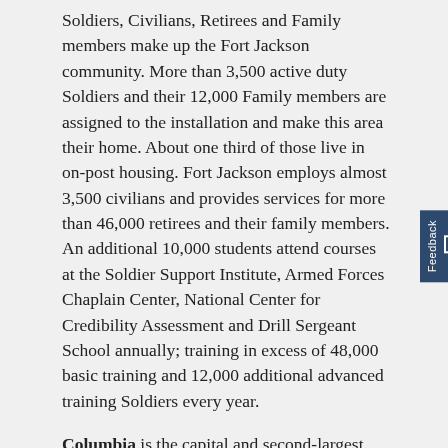Soldiers, Civilians, Retirees and Family members make up the Fort Jackson community. More than 3,500 active duty Soldiers and their 12,000 Family members are assigned to the installation and make this area their home. About one third of those live in on-post housing. Fort Jackson employs almost 3,500 civilians and provides services for more than 46,000 retirees and their family members. An additional 10,000 students attend courses at the Soldier Support Institute, Armed Forces Chaplain Center, National Center for Credibility Assessment and Drill Sergeant School annually; training in excess of 48,000 basic training and 12,000 additional advanced training Soldiers every year.
Columbia is the capital and second-largest city of the U.S. State of South Carolina, with a population estimate of 131,674 as of 2019. The city serves as the county seat of Richland County, and a portion of the city extends into neighboring Lexington County. It is the center of the Columbia metropolitan statistical area, which had a population of 767,598 as of the 2010 United States Census, growing to 832,666 by July 1, 2018,